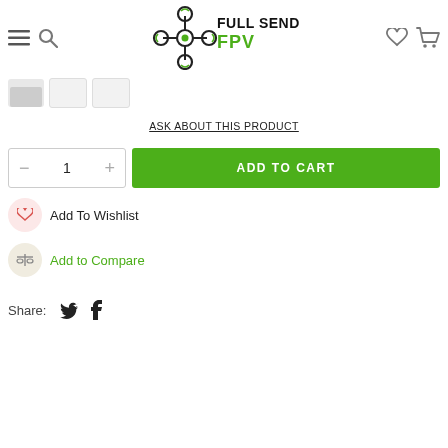[Figure (logo): Full Send FPV logo with drone icon and green FPV text]
ASK ABOUT THIS PRODUCT
1
ADD TO CART
Add To Wishlist
Add to Compare
Share: